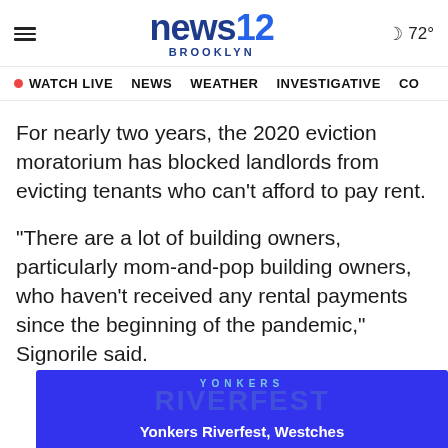news12 BROOKLYN — WATCH LIVE  NEWS  WEATHER  INVESTIGATIVE
For nearly two years, the 2020 eviction moratorium has blocked landlords from evicting tenants who can't afford to pay rent.
"There are a lot of building owners, particularly mom-and-pop building owners, who haven't received any rental payments since the beginning of the pandemic," Signorile said.
[Figure (other): Yonkers Riverfest advertisement banner showing blue background with YONKERS RIVERFEST text and caption 'Yonkers Riverfest, Westches']